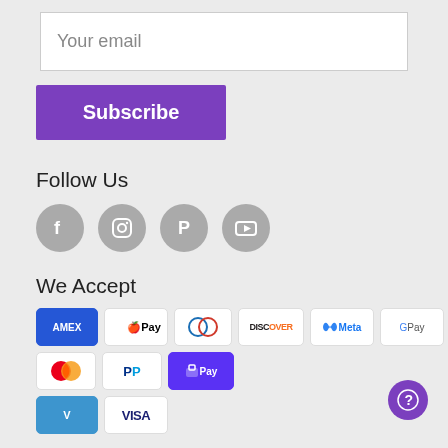Your email
Subscribe
Follow Us
[Figure (illustration): Four social media icons: Facebook, Instagram, Pinterest, YouTube — grey circles with white icons]
We Accept
[Figure (illustration): Payment method badges: AMEX, Apple Pay, Diners Club, Discover, Meta Pay, Google Pay, Mastercard, PayPal, Shop Pay, Venmo, Visa]
[Figure (illustration): Purple help/question mark circle button in bottom right corner]